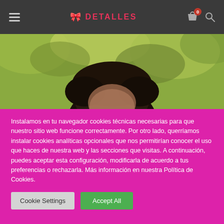≡  🎀 DETALLES  🛍 0  🔍
[Figure (photo): Partial view of a person with dark hair, blurred background with green foliage]
Instalamos en tu navegador cookies técnicas necesarias para que nuestro sitio web funcione correctamente. Por otro lado, querríamos instalar cookies analíticas opcionales que nos permitirían conocer el uso que haces de nuestra web y las secciones que visitas. A continuación, puedes aceptar esta configuración, modificarla de acuerdo a tus preferencias o rechazarla. Más información en nuestra Política de Cookies.
Cookie Settings
Accept All